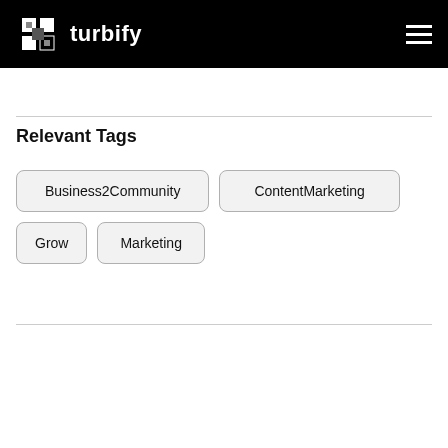turbify
Relevant Tags
Business2Community
ContentMarketing
Grow
Marketing